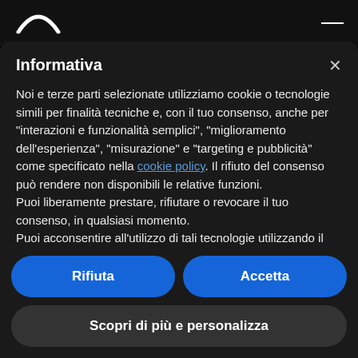[Figure (logo): White arc/logo shape at top left of dark header bar]
Informativa
Noi e terze parti selezionate utilizziamo cookie o tecnologie simili per finalità tecniche e, con il tuo consenso, anche per "interazioni e funzionalità semplici", "miglioramento dell'esperienza", "misurazione" e "targeting e pubblicità" come specificato nella cookie policy. Il rifiuto del consenso può rendere non disponibili le relative funzioni.
Puoi liberamente prestare, rifiutare o revocare il tuo consenso, in qualsiasi momento.
Puoi acconsentire all'utilizzo di tali tecnologie utilizzando il pulsante "Accetta". Chiudendo questa informativa, continui senza accettare.
Rifiuta
Accetta
Scopri di più e personalizza